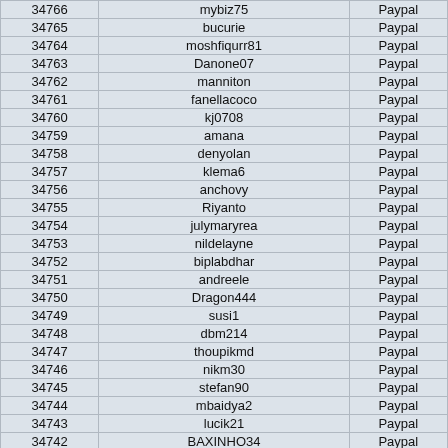| 34766 | mybiz75 | Paypal |
| 34765 | bucurie | Paypal |
| 34764 | moshfiqurr81 | Paypal |
| 34763 | Danone07 | Paypal |
| 34762 | manniton | Paypal |
| 34761 | fanellacoco | Paypal |
| 34760 | kj0708 | Paypal |
| 34759 | amana | Paypal |
| 34758 | denyolan | Paypal |
| 34757 | klema6 | Paypal |
| 34756 | anchovy | Paypal |
| 34755 | Riyanto | Paypal |
| 34754 | julymaryrea | Paypal |
| 34753 | nildelayne | Paypal |
| 34752 | biplabdhar | Paypal |
| 34751 | andreele | Paypal |
| 34750 | Dragon444 | Paypal |
| 34749 | susi1 | Paypal |
| 34748 | dbm214 | Paypal |
| 34747 | thoupikmd | Paypal |
| 34746 | nikm30 | Paypal |
| 34745 | stefan90 | Paypal |
| 34744 | mbaidya2 | Paypal |
| 34743 | lucik21 | Paypal |
| 34742 | BAXINHO34 | Paypal |
| 34741 | travelclick | Paypal |
| 34740 | purguzel | Paypal |